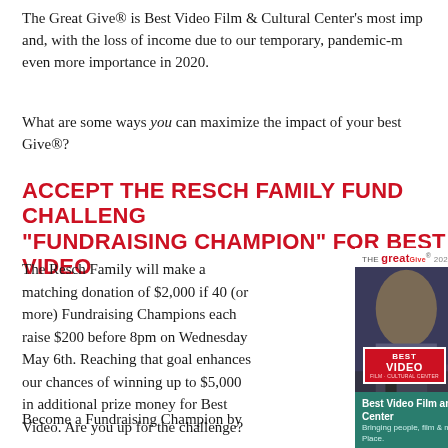The Great Give® is Best Video Film & Cultural Center's most important annual fundraiser and, with the loss of income due to our temporary, pandemic-motivated closure, takes on even more importance in 2020.
What are some ways you can maximize the impact of your best gift for the Great Give®?
ACCEPT THE RESCH FAMILY FUND CHALLENGE AND BECOME A "FUNDRAISING CHAMPION" FOR BEST VIDEO
The Resch Family will make a matching donation of $2,000 if 40 (or more) Fundraising Champions each raise $200 before 8pm on Wednesday May 6th. Reaching that goal enhances our chances of winning up to $5,000 in additional prize money for Best Video. Are you up for the challenge?
Become a Fundraising Champion by
[Figure (photo): Screenshot of the Great Give 2020 fundraising page for Best Video Film and Cultural Center, showing the organization's logo, a photo of musicians performing, and the tagline 'Bringing people, film & music together in one Place.']